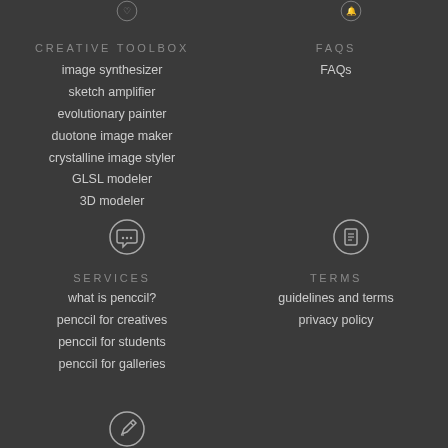[Figure (illustration): Circular icon with speech bubble and heart symbol, partially cut off at top, left column]
[Figure (illustration): Circular icon with bell symbol, partially cut off at top, right column]
CREATIVE TOOLBOX
image synthesizer
sketch amplifier
evolutionary painter
duotone image maker
crystalline image styler
GLSL modeler
3D modeler
FAQS
FAQs
[Figure (illustration): Circular icon with speech bubble chat symbol, left column]
[Figure (illustration): Circular icon with document/page symbol, right column]
SERVICES
what is penccil?
penccil for creatives
penccil for students
penccil for galleries
TERMS
guidelines and terms
privacy policy
[Figure (illustration): Circular icon with pencil/edit symbol, left column bottom]